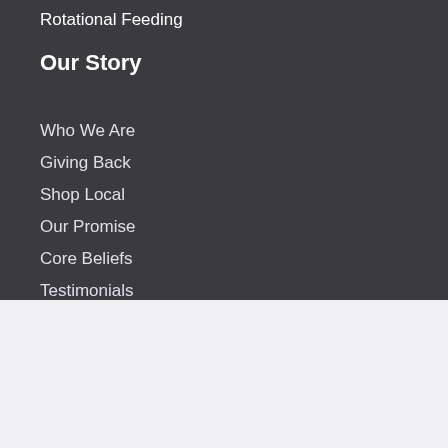Rotational Feeding
Our Story
Who We Are
Giving Back
Shop Local
Our Promise
Core Beliefs
Testimonials
We use cookies on our website to give you the most relevant experience by remembering your preferences and repeat visits. By clicking "Accept", you consent to the use of ALL cookies.
Do not sell my personal information.
Cookie Settings
ACCEPT